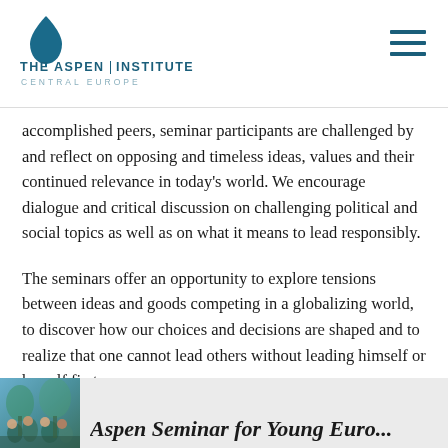THE ASPEN INSTITUTE CENTRAL EUROPE
accomplished peers, seminar participants are challenged by and reflect on opposing and timeless ideas, values and their continued relevance in today's world. We encourage dialogue and critical discussion on challenging political and social topics as well as on what it means to lead responsibly.
The seminars offer an opportunity to explore tensions between ideas and goods competing in a globalizing world, to discover how our choices and decisions are shaped and to realize that one cannot lead others without leading himself or herself first.
[Figure (photo): Group photo of seminar participants outdoors]
Aspen Seminar for Young Euro...